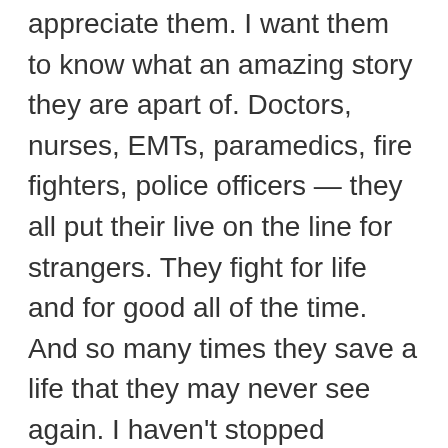appreciate them.  I want them to know what an amazing story they are apart of.  Doctors, nurses, EMTs, paramedics, fire fighters, police officers — they all put their live on the line for strangers.  They fight for life and for good all of the time.  And so many times they save a life that they may never see again.  I haven't stopped thinking about them since May 21, 2011 at about 8:15pm.  I want them to know what an impact they have made on my small life.
I've got the first batch of cupcakes in the oven and my iTunes playing.  Hoping that the